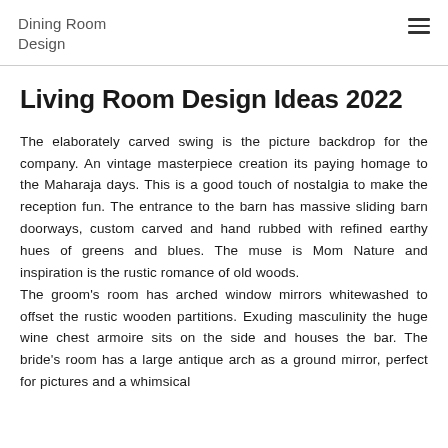Dining Room Design
Living Room Design Ideas 2022
The elaborately carved swing is the picture backdrop for the company. An vintage masterpiece creation its paying homage to the Maharaja days. This is a good touch of nostalgia to make the reception fun. The entrance to the barn has massive sliding barn doorways, custom carved and hand rubbed with refined earthy hues of greens and blues. The muse is Mom Nature and inspiration is the rustic romance of old woods. The groom's room has arched window mirrors whitewashed to offset the rustic wooden partitions. Exuding masculinity the huge wine chest armoire sits on the side and houses the bar. The bride's room has a large antique arch as a ground mirror, perfect for pictures and a whimsical